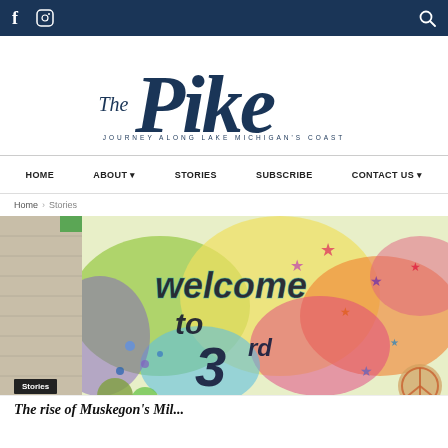f  [instagram icon]  [search icon]
[Figure (logo): The Pike logo — 'The Pike' in navy blue script and serif typeface with tagline 'JOURNEY ALONG LAKE MICHIGAN'S COAST']
HOME  ABOUT ▾  STORIES  SUBSCRIBE  CONTACT US ▾
Home › Stories
[Figure (photo): Colorful mural on a brick wall reading 'welcome to 3rd street' with vibrant floral and star decorations in pink, green, orange, blue colors]
Stories
The rise of Muskegon's Mil...